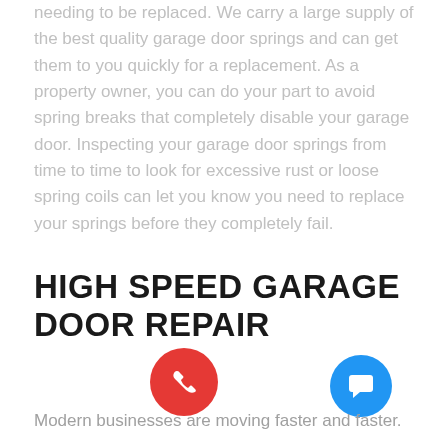needing to be replaced. We carry a large supply of the best quality garage door springs and can get them to you quickly for a replacement. As a property owner, you can do your part to avoid spring breaks that completely disable your garage door. Inspecting your garage door springs from time to time to look for excessive rust or loose spring coils can let you know you need to replace your springs before they completely fail.
HIGH SPEED GARAGE DOOR REPAIR
Modern businesses are moving faster and faster.